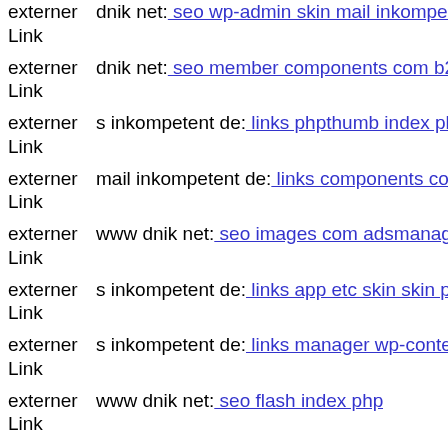externer Link | dnik net: seo wp-admin skin mail inkompetent de
externer Link | dnik net: seo member components com b2jcontact sheren p...
externer Link | s inkompetent de: links phpthumb index php
externer Link | mail inkompetent de: links components com civicrm civicrm...
externer Link | www dnik net: seo images com adsmanager ads uploaded te...
externer Link | s inkompetent de: links app etc skin skin phpthumb compor...
externer Link | s inkompetent de: links manager wp-content plugins wp-file...
externer Link | www dnik net: seo flash index php
externer Link | s inkompetent de: links phpthumb phpthumb plog-includes...
externer Link | mail inkompetent de: links wp-content themes autorized ph...
externer Link | dnik net: seo media system js wp-admin includes plugins co...
externer Link | s inkompetent de: links wp-content plugins wp-mobile-det...